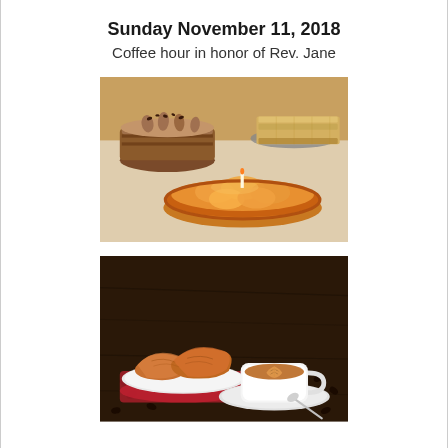Sunday November 11, 2018
Coffee hour in honor of Rev. Jane
[Figure (photo): Photo of pastries and desserts: a chocolate layered cake with coffee cream frosting and chocolate decorations on the left, a tray of bar cookies in the upper right, and a glazed apricot/peach tart in the foreground center, all arranged on a white tablecloth.]
[Figure (photo): Photo of croissants on a white plate with a cappuccino latte art coffee cup and saucer, surrounded by scattered coffee beans on a dark wooden table.]